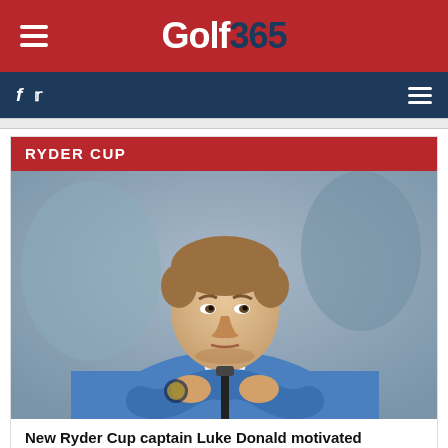Golf 365
RYDER CUP
[Figure (photo): Luke Donald in blue European Ryder Cup team polo shirt, holding a golf club, looking focused, blurred grey background]
New Ryder Cup captain Luke Donald motivated